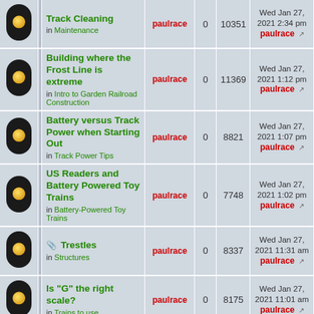|  |  | Topic | Author | Replies | Views | Last Post |
| --- | --- | --- | --- | --- | --- | --- |
| [icon] |  | Track Cleaning
in Maintenance | paulrace | 0 | 10351 | Wed Jan 27, 2021 2:34 pm
paulrace |
| [icon] |  | Building where the Frost Line is extreme
in Intro to Garden Railroad Construction | paulrace | 0 | 11369 | Wed Jan 27, 2021 1:12 pm
paulrace |
| [icon] |  | Battery versus Track Power when Starting Out
in Track Power Tips | paulrace | 0 | 8821 | Wed Jan 27, 2021 1:07 pm
paulrace |
| [icon] |  | US Readers and Battery Powered Toy Trains
in Battery-Powered Toy Trains | paulrace | 0 | 7748 | Wed Jan 27, 2021 1:02 pm
paulrace |
| [icon] |  | [attach] Trestles
in Structures | paulrace | 0 | 8337 | Wed Jan 27, 2021 11:31 am
paulrace |
| [icon] |  | Is "G" the right scale?
in Trains to use | paulrace | 0 | 8175 | Wed Jan 27, 2021 11:01 am
paulrace |
| [icon] |  | [attach] Ladder |  |  |  |  |